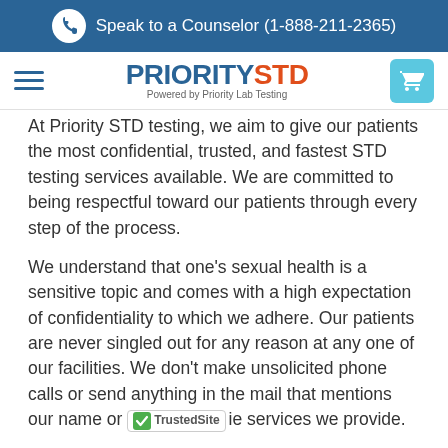Speak to a Counselor (1-888-211-2365)
[Figure (logo): PrioritySTD logo - PRIORITY in blue, STD in orange, Powered by Priority Lab Testing subtitle]
At Priority STD testing, we aim to give our patients the most confidential, trusted, and fastest STD testing services available. We are committed to being respectful toward our patients through every step of the process.
We understand that one’s sexual health is a sensitive topic and comes with a high expectation of confidentiality to which we adhere. Our patients are never singled out for any reason at any one of our facilities. We don’t make unsolicited phone calls or send anything in the mail that mentions our name or [TrustedSite] ie services we provide.